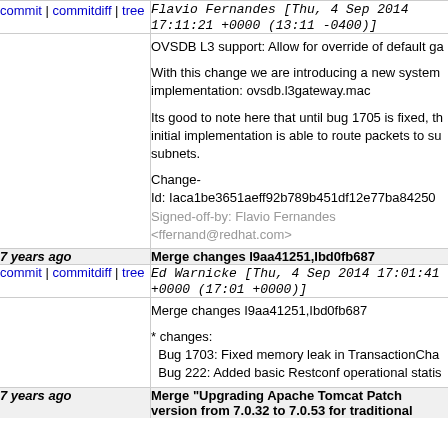commit | commitdiff | tree   Flavio Fernandes [Thu, 4 Sep 2014 17:11:21 +0000 (13:11 -0400)]
OVSDB L3 support: Allow for override of default ga

With this change we are introducing a new system implementation: ovsdb.l3gateway.mac

Its good to note here that until bug 1705 is fixed, the initial implementation is able to route packets to su subnets.

Change-Id: Iaca1be3651aeff92b789b451df12e77ba84250 Signed-off-by: Flavio Fernandes <ffernand@redhat.com>
7 years ago   Merge changes I9aa41251,Ibd0fb687
commit | commitdiff | tree   Ed Warnicke [Thu, 4 Sep 2014 17:01:41 +0000 (17:01 +0000)]
Merge changes I9aa41251,Ibd0fb687

* changes:
  Bug 1703: Fixed memory leak in TransactionCha
  Bug 222: Added basic Restconf operational statis
7 years ago   Merge "Upgrading Apache Tomcat Patch version from 7.0.32 to 7.0.53 for traditional